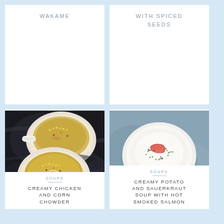WAKAME
WITH SPICED SEEDS
[Figure (photo): Overhead shot of two white enamel mugs/bowls filled with creamy chicken and corn chowder on a dark marble surface]
SOUPS
CREAMY CHICKEN AND CORN CHOWDER
[Figure (photo): Overhead shot of a white bowl with creamy potato and sauerkraut soup topped with hot smoked salmon and herbs on a blue-grey surface]
SOUPS
CREAMY POTATO AND SAUERKRAUT SOUP WITH HOT SMOKED SALMON